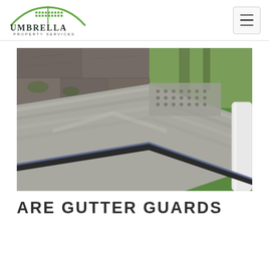Umbrella Property Services
[Figure (photo): Close-up photo of a metal gutter guard installed on a roof edge, with gray shingle roof visible on the left and green lawn/trees blurred in the background. The gutter guard is a silver/gray perforated metal panel.]
ARE GUTTER GUARDS